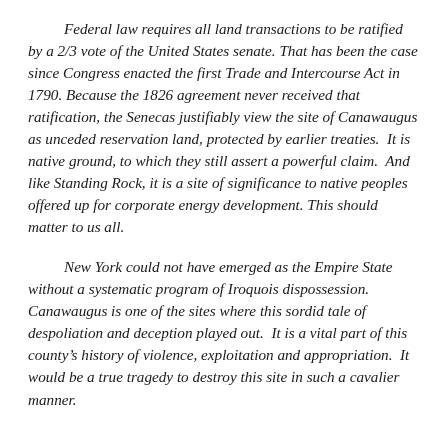Federal law requires all land transactions to be ratified by a 2/3 vote of the United States senate. That has been the case since Congress enacted the first Trade and Intercourse Act in 1790. Because the 1826 agreement never received that ratification, the Senecas justifiably view the site of Canawaugus as unceded reservation land, protected by earlier treaties.  It is native ground, to which they still assert a powerful claim.  And like Standing Rock, it is a site of significance to native peoples offered up for corporate energy development. This should matter to us all.
New York could not have emerged as the Empire State without a systematic program of Iroquois dispossession. Canawaugus is one of the sites where this sordid tale of despoliation and deception played out.  It is a vital part of this county's history of violence, exploitation and appropriation.  It would be a true tragedy to destroy this site in such a cavalier manner.